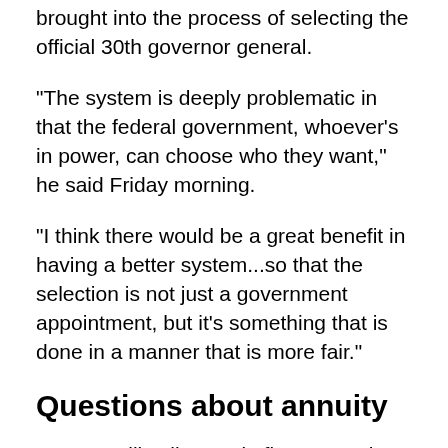brought into the process of selecting the official 30th governor general.
"The system is deeply problematic in that the federal government, whoever's in power, can choose who they want," he said Friday morning.
"I think there would be a great benefit in having a better system...so that the selection is not just a government appointment, but it's something that is done in a manner that is more fair."
Questions about annuity
Payette will collect a six-figure annuity for the rest of her life, a tradition critics are calling into question given the report on the Rideau Hall workplace climate